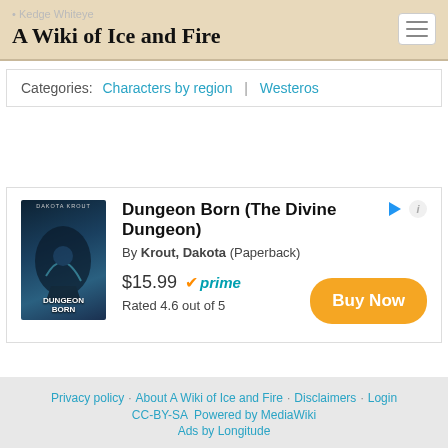A Wiki of Ice and Fire
Kedge Whiteye
Categories: Characters by region | Westeros
[Figure (illustration): Book advertisement for 'Dungeon Born (The Divine Dungeon)' by Krout, Dakota (Paperback). Shows book cover image, price $15.99 with Prime badge, Rated 4.6 out of 5, and a Buy Now button.]
Privacy policy · About A Wiki of Ice and Fire · Disclaimers · Login CC-BY-SA Powered by MediaWiki Ads by Longitude